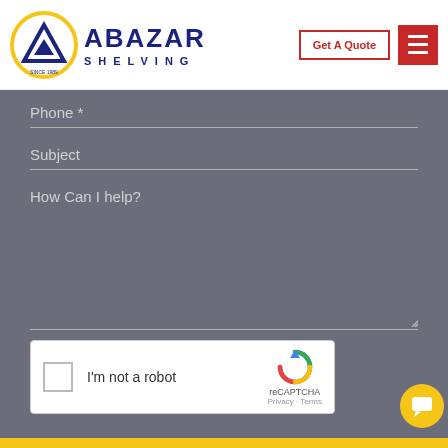[Figure (logo): Abazar Shelving logo with circular yellow/navy emblem and company name]
Get A Quote
[Figure (other): Red hamburger menu button with three white horizontal lines]
Phone *
Subject
How Can I help?
[Figure (other): reCAPTCHA widget with checkbox, 'I'm not a robot' text, and reCAPTCHA logo. Privacy · Terms links.]
[Figure (other): Yellow circular chat button with speech bubble icon]